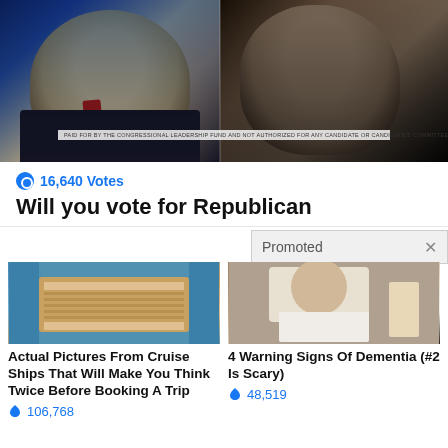[Figure (photo): Split image showing two political figures side by side on dark background with disclaimer bar at bottom reading: PAID FOR BY THE CONGRESSIONAL LEADERSHIP FUND AND NOT AUTHORIZED FOR ANY CANDIDATE OR CANDIDATE'S COMMITTEE.]
16,640 Votes
Will you vote for Republican
Promoted X
[Figure (photo): Aerial photo of cruise ship deck with people and structures visible from above]
Actual Pictures From Cruise Ships That Will Make You Think Twice Before Booking A Trip
106,768
[Figure (photo): Person sitting on bed in dimly lit room, appearing elderly or unwell]
4 Warning Signs Of Dementia (#2 Is Scary)
48,519